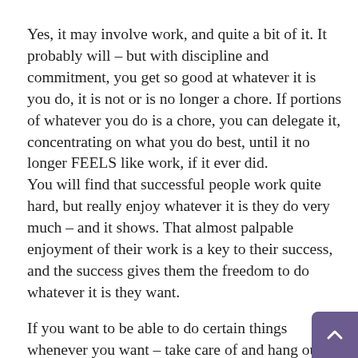Yes, it may involve work, and quite a bit of it. It probably will – but with discipline and commitment, you get so good at whatever it is you do, it is not or is no longer a chore. If portions of whatever you do is a chore, you can delegate it, concentrating on what you do best, until it no longer FEELS like work, if it ever did. You will find that successful people work quite hard, but really enjoy whatever it is they do very much – and it shows. That almost palpable enjoyment of their work is a key to their success, and the success gives them the freedom to do whatever it is they want.
If you want to be able to do certain things whenever you want – take care of and hang out with friends and family, travel, take up hobbies, you need much more flexibility than a regular job allows you to do. That pretty much requires that